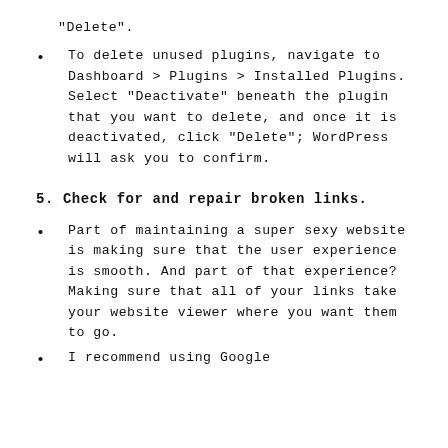"Delete".
To delete unused plugins, navigate to Dashboard > Plugins > Installed Plugins. Select "Deactivate" beneath the plugin that you want to delete, and once it is deactivated, click "Delete"; WordPress will ask you to confirm.
5. Check for and repair broken links.
Part of maintaining a super sexy website is making sure that the user experience is smooth. And part of that experience? Making sure that all of your links take your website viewer where you want them to go.
I recommend using Google